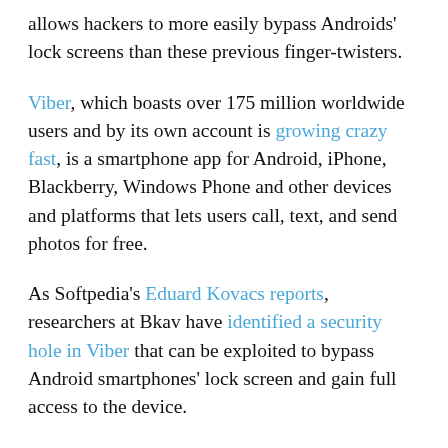allows hackers to more easily bypass Androids' lock screens than these previous finger-twisters.
Viber, which boasts over 175 million worldwide users and by its own account is growing crazy fast, is a smartphone app for Android, iPhone, Blackberry, Windows Phone and other devices and platforms that lets users call, text, and send photos for free.
As Softpedia's Eduard Kovacs reports, researchers at Bkav have identified a security hole in Viber that can be exploited to bypass Android smartphones' lock screen and gain full access to the device.
Bkav describes the lockscreen bypass as “simple,” though the steps might slightly differ among different phones.